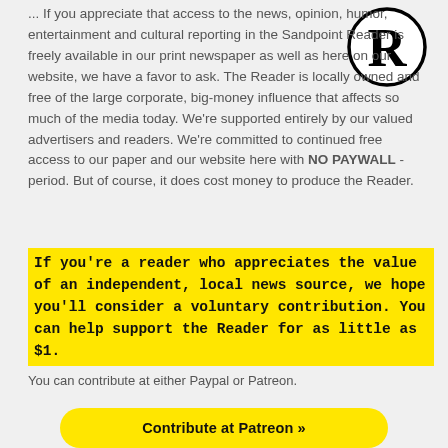... If you appreciate that access to the news, opinion, humor, entertainment and cultural reporting in the Sandpoint Reader is freely available in our print newspaper as well as here on our website, we have a favor to ask. The Reader is locally owned and free of the large corporate, big-money influence that affects so much of the media today. We're supported entirely by our valued advertisers and readers. We're committed to continued free access to our paper and our website here with NO PAYWALL - period. But of course, it does cost money to produce the Reader.
If you're a reader who appreciates the value of an independent, local news source, we hope you'll consider a voluntary contribution. You can help support the Reader for as little as $1.
You can contribute at either Paypal or Patreon.
[Figure (logo): Circular logo with a large stylized letter R inside a circle, black outline on white background.]
Contribute at Patreon »